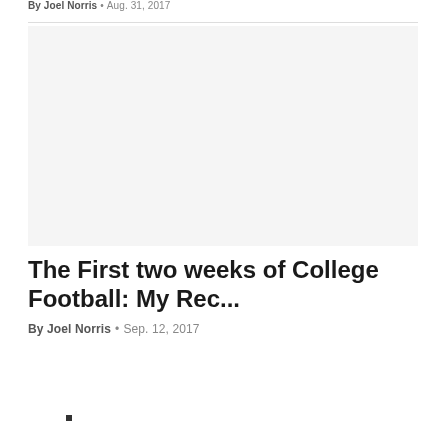By Joel Norris · Aug. 31, 2017
[Figure (photo): Blank/white image placeholder for article thumbnail]
The First two weeks of College Football: My Rec...
By Joel Norris · Sep. 12, 2017
■